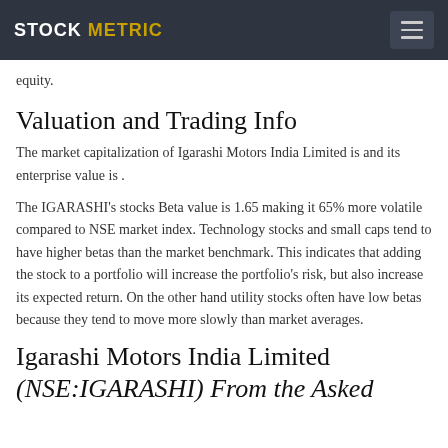STOCK METRIC
equity.
Valuation and Trading Info
The market capitalization of Igarashi Motors India Limited is and its enterprise value is .
The IGARASHI's stocks Beta value is 1.65 making it 65% more volatile compared to NSE market index. Technology stocks and small caps tend to have higher betas than the market benchmark. This indicates that adding the stock to a portfolio will increase the portfolio's risk, but also increase its expected return. On the other hand utility stocks often have low betas because they tend to move more slowly than market averages.
Igarashi Motors India Limited (NSE:IGARASHI) From the Asked...